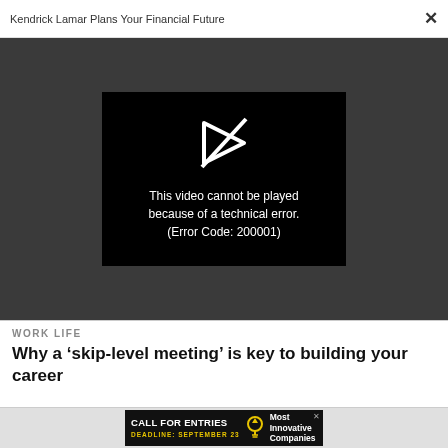Kendrick Lamar Plans Your Financial Future
[Figure (screenshot): Video player showing error: 'This video cannot be played because of a technical error. (Error Code: 200001)' with a broken play button icon on black background, set against a dark grey (#3a3a3a) background.]
WORK LIFE
Why a ‘skip-level meeting’ is key to building your career
[Figure (infographic): Advertisement banner: 'CALL FOR ENTRIES DEADLINE: SEPTEMBER 23' with a lightbulb icon and 'Most Innovative Companies' text on black background.]